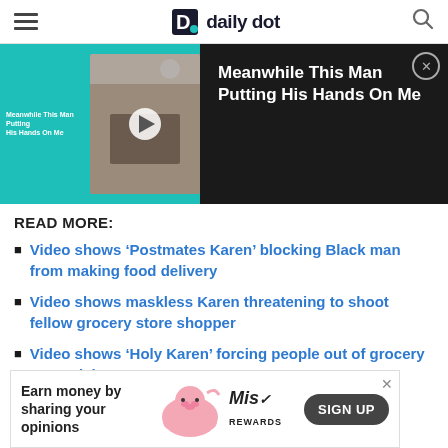daily dot
[Figure (screenshot): Video player banner showing 'Meanwhile This Man Putting His Hands On Me' with teal background, video thumbnail with play button, and dark right panel with title text and close button]
READ MORE:
Video shows ‘Postmates Karen’ blocking Black man from making food delivery
Video shows maskless Karen threatening to shoot fellow grocery store shopper
Video shows ‘Holy Karen’ forcing people out of grocery store aisle
H/T Daily Mail
[Figure (screenshot): Advertisement banner: Earn money by sharing your opinions, Mis Rewards, SIGN UP button, with pink pig graphic]